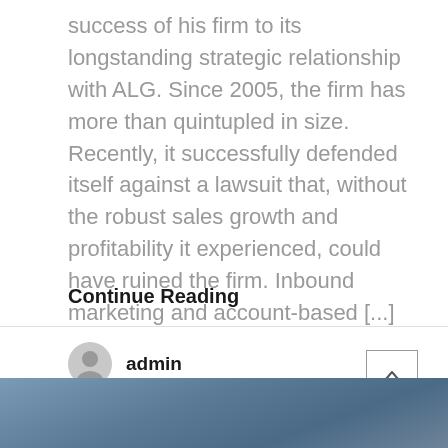success of his firm to its longstanding strategic relationship with ALG. Since 2005, the firm has more than quintupled in size. Recently, it successfully defended itself against a lawsuit that, without the robust sales growth and profitability it experienced, could have ruined the firm. Inbound marketing and account-based [...]
Continue Reading
admin
[Figure (photo): Partial view of a dark blue-gray textured image at the bottom of the page, appearing to show a surface with some light markings]